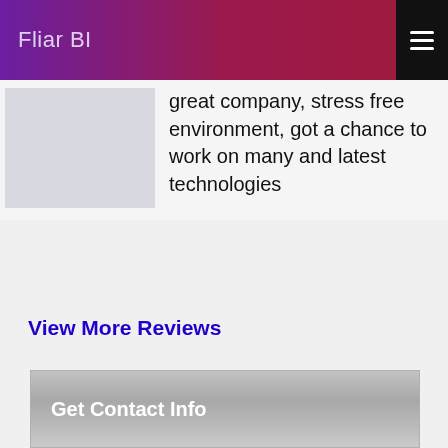Fliar BI
great company, stress free environment, got a chance to work on many and latest technologies
View More Reviews
Get Contact Info
Get Quotation
Make Your Offer